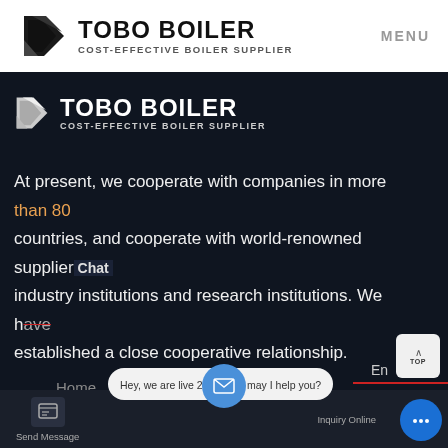[Figure (logo): Tobo Boiler logo with geometric black icon and bold text 'TOBO BOILER' and subtitle 'COST-EFFECTIVE BOILER SUPPLIER' on white background]
MENU
[Figure (logo): Tobo Boiler logo repeated on dark background]
At present, we cooperate with companies in more than 80 countries, and cooperate with world-renowned suppliers, industry institutions and research institutions. We have established a close cooperative relationship.
Explore
Home
Contact
Hey, we are live 24/7. How may I help you?
Send Message
Inquiry Online